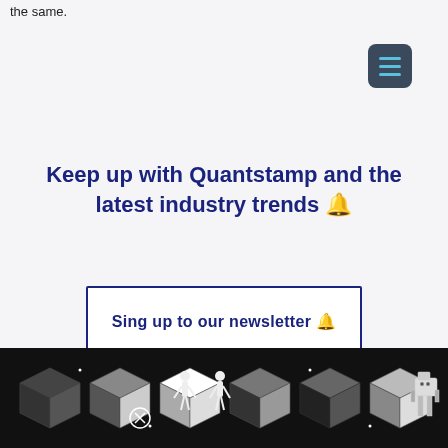the same.
[Figure (screenshot): Dark menu/hamburger button with three horizontal blue lines on a dark slate background, positioned top right]
Keep up with Quantstamp and the latest industry trends 🔔
Sing up to our newsletter 🔔
[Figure (photo): Dark strip image at the bottom showing geometric 3D cube shapes in black and white, with white human figure silhouettes and what appears to be a robot/computer figure on the right side.]